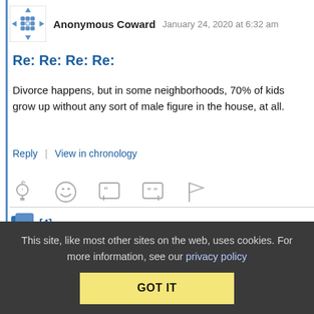Anonymous Coward   January 24, 2020 at 6:32 am
Re: Re: Re: Re:
Divorce happens, but in some neighborhoods, 70% of kids grow up without any sort of male figure in the house, at all.
Reply | View in chronology
[4]
This site, like most other sites on the web, uses cookies. For more information, see our privacy policy
GOT IT